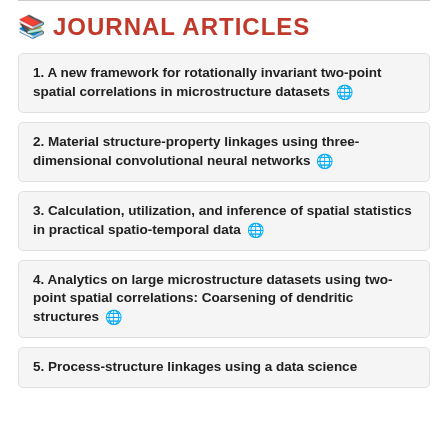JOURNAL ARTICLES
1. A new framework for rotationally invariant two-point spatial correlations in microstructure datasets
2. Material structure-property linkages using three-dimensional convolutional neural networks
3. Calculation, utilization, and inference of spatial statistics in practical spatio-temporal data
4. Analytics on large microstructure datasets using two-point spatial correlations: Coarsening of dendritic structures
5. Process-structure linkages using a data science